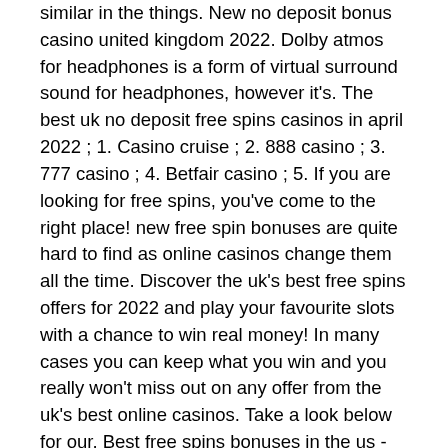similar in the things. New no deposit bonus casino united kingdom 2022. Dolby atmos for headphones is a form of virtual surround sound for headphones, however it's. The best uk no deposit free spins casinos in april 2022 ; 1. Casino cruise ; 2. 888 casino ; 3. 777 casino ; 4. Betfair casino ; 5. If you are looking for free spins, you've come to the right place! new free spin bonuses are quite hard to find as online casinos change them all the time. Discover the uk's best free spins offers for 2022 and play your favourite slots with a chance to win real money! In many cases you can keep what you win and you really won't miss out on any offer from the uk's best online casinos. Take a look below for our. Best free spins bonuses in the us - find top free spins casinos &amp; learn more about available bonuses. Take advantage of offers up to 1000 free spins! The worlds